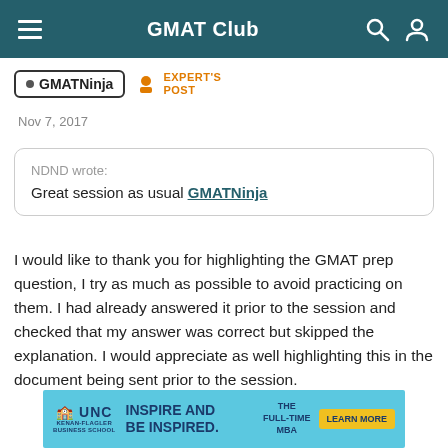GMAT Club
GMATNinja  EXPERT'S POST
Nov 7, 2017
NDND wrote:
Great session as usual GMATNinja

I would like to thank you for highlighting the GMAT prep question, I try as much as possible to avoid practicing on them. I had already answered it prior to the session and checked that my answer was correct but skipped the explanation. I would appreciate as well highlighting this in the document being sent prior to the session.
[Figure (infographic): UNC Kenan-Flagler Business School advertisement banner: INSPIRE AND BE INSPIRED. THE FULL-TIME MBA. LEARN MORE button.]